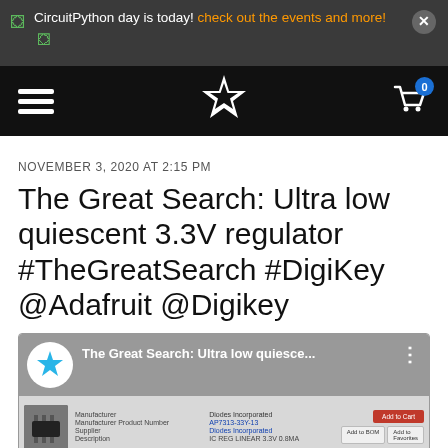CircuitPython day is today! check out the events and more!
[Figure (screenshot): Navigation bar with hamburger menu, Adafruit star logo, and shopping cart with badge showing 0]
NOVEMBER 3, 2020 AT 2:15 PM
The Great Search: Ultra low quiescent 3.3V regulator #TheGreatSearch #DigiKey @Adafruit @Digikey
[Figure (screenshot): Video thumbnail showing The Great Search: Ultra low quiesce... with Adafruit logo, IC chip image, DigiKey product page table with Manufacturer: Diodes Incorporated, Manufacturer Product Number: AP7313-33Y-13, Supplier: Diodes Incorporated, Description: IC REG LINEAR 3.3V 0.8MA, with Add to Cart, Add to BOM, and Add to Favorites buttons]